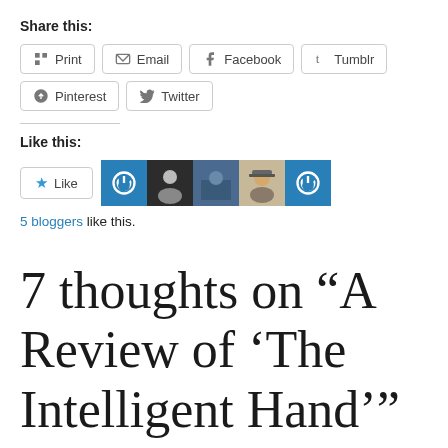Share this:
Print | Email | Facebook | Tumblr | Pinterest | Twitter
Like this:
[Figure (screenshot): Like button and 5 blogger avatar icons]
5 bloggers like this.
7 thoughts on “A Review of ‘The Intelligent Hand’”